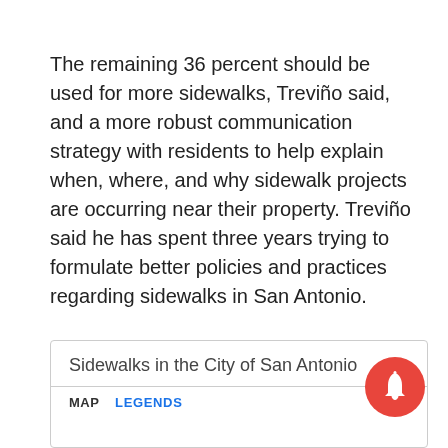The remaining 36 percent should be used for more sidewalks, Treviño said, and a more robust communication strategy with residents to help explain when, where, and why sidewalk projects are occurring near their property. Treviño said he has spent three years trying to formulate better policies and practices regarding sidewalks in San Antonio.
Sidewalks in the City of San Antonio
MAP   LEGENDS